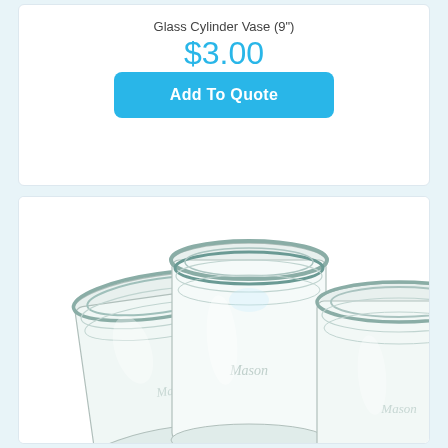Glass Cylinder Vase (9")
$3.00
Add To Quote
[Figure (photo): Three glass mason jars of varying sizes photographed from above at an angle, showing their open tops and threaded rims on a white background.]